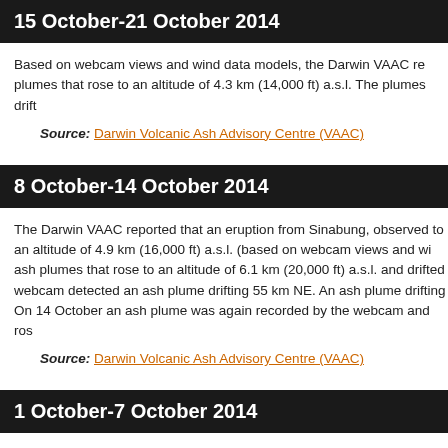15 October-21 October 2014
Based on webcam views and wind data models, the Darwin VAAC re plumes that rose to an altitude of 4.3 km (14,000 ft) a.s.l. The plumes drift
Source: Darwin Volcanic Ash Advisory Centre (VAAC)
8 October-14 October 2014
The Darwin VAAC reported that an eruption from Sinabung, observed to an altitude of 4.9 km (16,000 ft) a.s.l. (based on webcam views and wi ash plumes that rose to an altitude of 6.1 km (20,000 ft) a.s.l. and drifted webcam detected an ash plume drifting 55 km NE. An ash plume drifting On 14 October an ash plume was again recorded by the webcam and ros
Source: Darwin Volcanic Ash Advisory Centre (VAAC)
1 October-7 October 2014